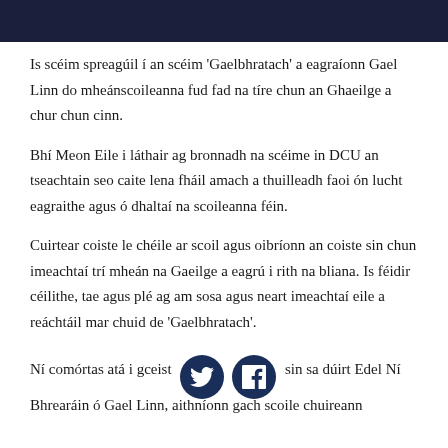Is scéim spreagúil í an scéim 'Gaelbhratach' a eagraíonn Gael Linn do mheánscoileanna fud fad na tíre chun an Ghaeilge a chur chun cinn.
Bhí Meon Eile i láthair ag bronnadh na scéime in DCU an tseachtain seo caite lena fháil amach a thuilleadh faoi ón lucht eagraithe agus ó dhaltaí na scoileanna féin.
Cuirtear coiste le chéile ar scoil agus oibríonn an coiste sin chun imeachtaí trí mheán na Gaeilge a eagrú i rith na bliana. Is féidir céilithe, tae agus plé ag am sosa agus neart imeachtaí eile a reáchtáil mar chuid de 'Gaelbhratach'.
Ní comórtas atá i gceist [social icons] sin sa dúirt Edel Ní Bhrearáin ó Gael Linn, aithníonn gach scoile chuireann